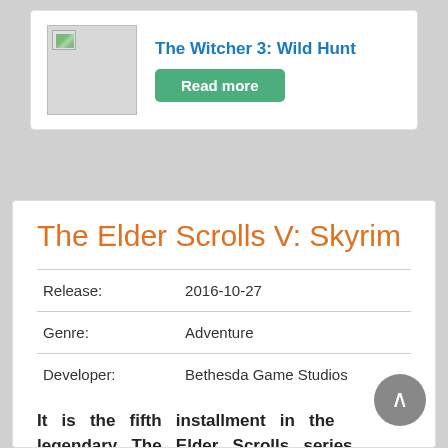The Witcher 3: Wild Hunt
Read more
The Elder Scrolls V: Skyrim
| Release: | 2016-10-27 |
| Genre: | Adventure |
| Developer: | Bethesda Game Studios |
It is the fifth installment in the legendary The Elder Scrolls series